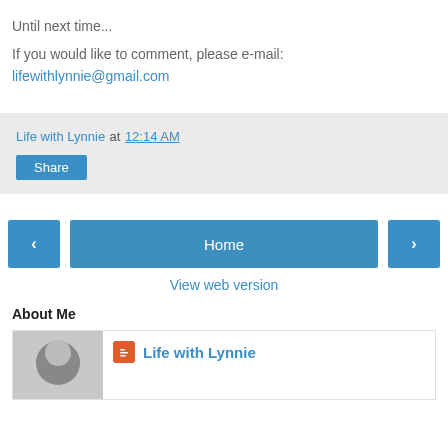Until next time...
If you would like to comment, please e-mail:
lifewithlynnie@gmail.com
Life with Lynnie at 12:14 AM
Share
Home
View web version
About Me
Life with Lynnie